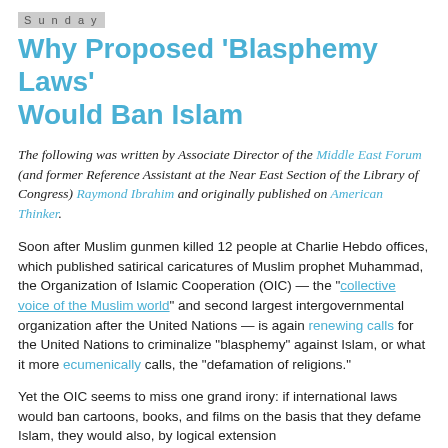Sunday
Why Proposed 'Blasphemy Laws' Would Ban Islam
The following was written by Associate Director of the Middle East Forum (and former Reference Assistant at the Near East Section of the Library of Congress) Raymond Ibrahim and originally published on American Thinker.
Soon after Muslim gunmen killed 12 people at Charlie Hebdo offices, which published satirical caricatures of Muslim prophet Muhammad, the Organization of Islamic Cooperation (OIC) — the “collective voice of the Muslim world” and second largest intergovernmental organization after the United Nations — is again renewing calls for the United Nations to criminalize “blasphemy” against Islam, or what it more ecumenically calls, the “defamation of religions.”
Yet the OIC seems to miss one grand irony: if international laws would ban cartoons, books, and films on the basis that they defame Islam, they would also, by logical extension